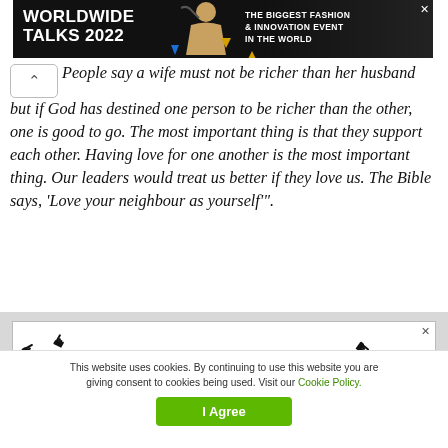[Figure (other): Advertisement banner: WORLDWIDE TALKS 2022 — THE BIGGEST FASHION & INNOVATION EVENT IN THE WORLD]
People say a wife must not be richer than her husband but if God has destined one person to be richer than the other, one is good to go. The most important thing is that they support each other. Having love for one another is the most important thing. Our leaders would treat us better if they love us. The Bible says, ‘Love your neighbour as yourself’".
[Figure (other): Advertisement banner: got clicks? with cursor/hand pointer icons on black and white background]
This website uses cookies. By continuing to use this website you are giving consent to cookies being used. Visit our Cookie Policy.